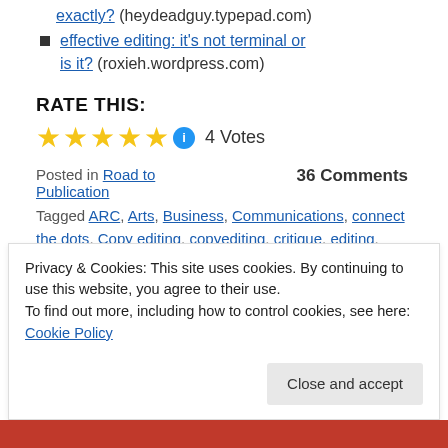exactly? (heydeadguy.typepad.com)
effective editing: it's not terminal or is it? (roxieh.wordpress.com)
RATE THIS:
★★★★★ ℹ 4 Votes
Posted in Road to Publication
36 Comments
Tagged ARC, Arts, Business, Communications, connect the dots, Copy editing, copyediting, critique, editing, Fiction, getting published, Kindle, publish,
Privacy & Cookies: This site uses cookies. By continuing to use this website, you agree to their use.
To find out more, including how to control cookies, see here: Cookie Policy